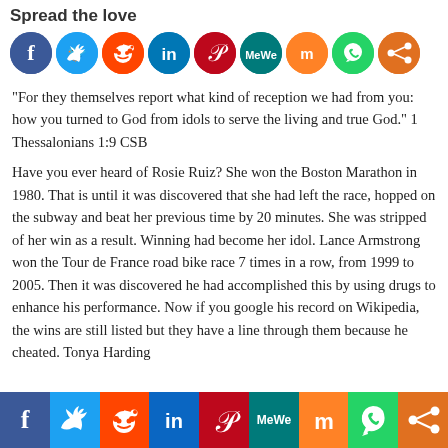Spread the love
[Figure (infographic): Row of social media share icons: Facebook (blue), Twitter (light blue), Reddit (orange-red), LinkedIn (dark blue), Pinterest (red), MeWe (teal), Mix (orange), WhatsApp (green), Share (dark orange)]
“For they themselves report what kind of reception we had from you: how you turned to God from idols to serve the living and true God.” 1 Thessalonians 1:9 CSB
Have you ever heard of Rosie Ruiz?  She won the Boston Marathon in 1980.  That is until it was discovered that she had left the race, hopped on the subway and beat her previous time by 20 minutes.  She was stripped of her win as a result.  Winning had become her idol. Lance Armstrong won the Tour de France road bike race 7 times in a row, from 1999 to 2005.  Then it was discovered he had accomplished this by using drugs to enhance his performance. Now if you google his record on Wikipedia, the wins are still listed but they have a line through them because he cheated. Tonya Harding
[Figure (infographic): Bottom bar of social media share icons: Facebook (blue), Twitter (light blue), Reddit (orange-red), LinkedIn (dark blue), Pinterest (red), MeWe (teal), Mix (orange), WhatsApp (green), Share (dark orange)]